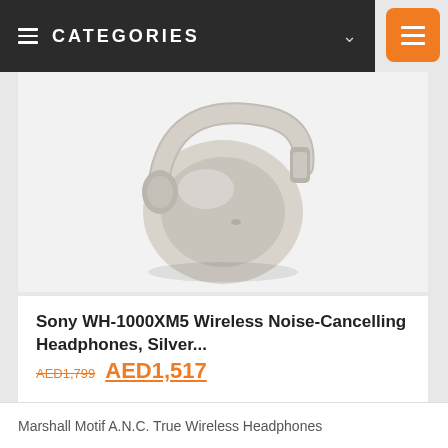CATEGORIES
[Figure (photo): Sony WH-1000XM5 wireless noise-cancelling headphones in silver color, shown from an angled perspective on a light gray background.]
Sony WH-1000XM5 Wireless Noise-Cancelling Headphones, Silver...
AED1,799  AED1,517
Deals on HEADPHONES in Dubai
Marshall Motif A.N.C. True Wireless Headphones